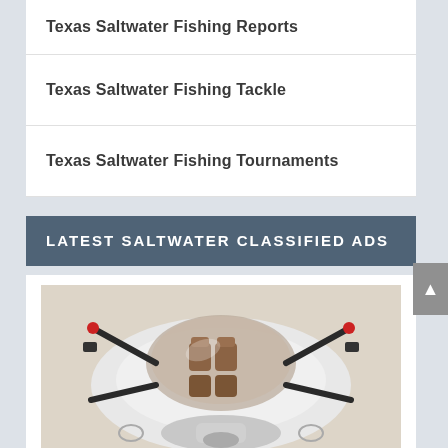Texas Saltwater Fishing Reports
Texas Saltwater Fishing Tackle
Texas Saltwater Fishing Tournaments
LATEST SALTWATER CLASSIFIED ADS
[Figure (photo): Top-down or front view of a futuristic submarine or specialized watercraft with a transparent dome cockpit, brown leather interior seats, black structural frame arms extending outward, and a white/silver hull body.]